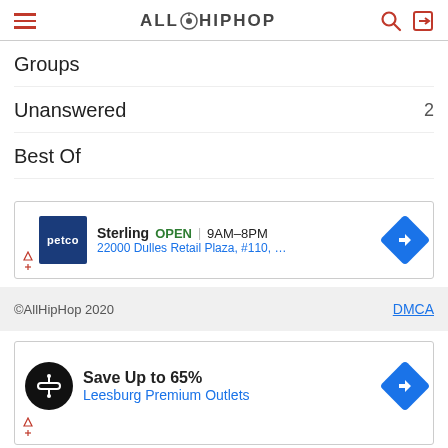AllHipHop (navigation header)
Groups
Unanswered  2
Best Of
[Figure (infographic): Petco ad: Sterling OPEN 9AM–8PM, 22000 Dulles Retail Plaza, #110, Sterling]
©AllHipHop 2020    DMCA
[Figure (infographic): Ad: Save Up to 65% Leesburg Premium Outlets]